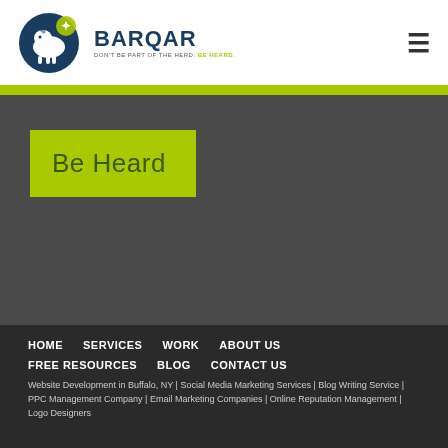[Figure (logo): Barqar logo with goat/sheep icon and text 'BARQAR', tagline 'DON'T BE PART OF THE HERD. BE HEARD.']
Be Heard
HOME
SERVICES
WORK
ABOUT US
FREE RESOURCES
BLOG
CONTACT US
Website Development in Buffalo, NY | Social Media Marketing Services | Blog Writing Service | PPC Management Company | Email Marketing Companies | Online Reputation Management | Logo Designers